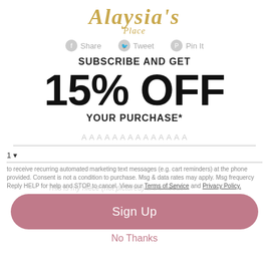[Figure (logo): Alaysis Place stylized logo in gold italic serif font]
Share   Tweet   Pin It
SUBSCRIBE AND GET
15% OFF
YOUR PURCHASE*
1 ▾ (phone number input field)
to receive recurring automated marketing text messages (e.g. cart reminders) at the phone provided. Consent is not a condition to purchase. Msg & data rates may apply. Msg frequency varies. Reply HELP for help and STOP to cancel. View our Terms of Service and Privacy Policy.
This is my niece (not pictured) & s/s needs...
Sign Up
No Thanks